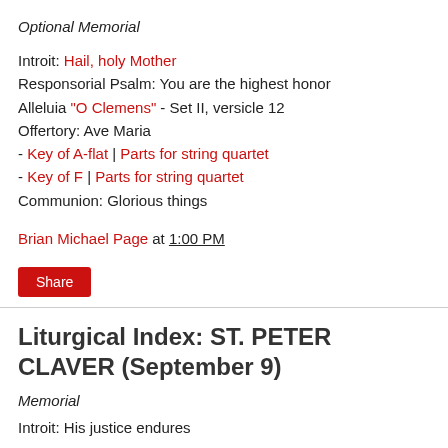Optional Memorial
Introit: Hail, holy Mother
Responsorial Psalm: You are the highest honor
Alleluia "O Clemens" - Set II, versicle 12
Offertory: Ave Maria
- Key of A-flat | Parts for string quartet
- Key of F | Parts for string quartet
Communion: Glorious things
Brian Michael Page at 1:00 PM
Share
Liturgical Index: ST. PETER CLAVER (September 9)
Memorial
Introit: His justice endures